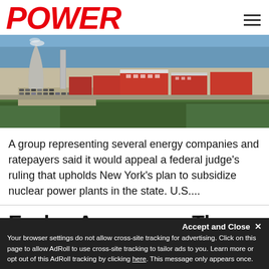POWER
[Figure (photo): Aerial photograph of a nuclear power plant facility with cooling tower, red and white industrial buildings, parking lot, and surrounding green trees with body of water in background.]
A group representing several energy companies and ratepayers said it would appeal a federal judge's ruling that upholds New York's plan to subsidize nuclear power plants in the state. U.S....
Exelon Announces Three Mile Island Nuclear Plant to Close in 2019
Your browser settings do not allow cross-site tracking for advertising. Click on this page to allow AdRoll to use cross-site tracking to tailor ads to you. Learn more or opt out of this AdRoll tracking by clicking here. This message only appears once.